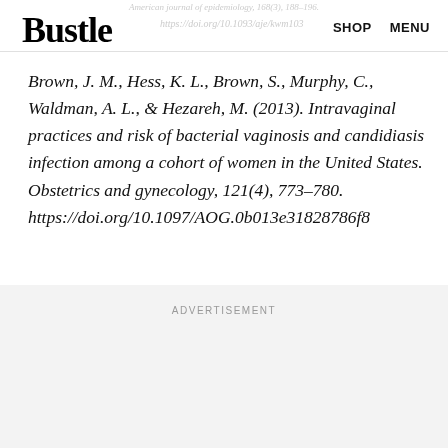American journal of epidemiology, 168(3), 188–196. https://doi.org/10.1093/aje/kwm103
Bustle
Brown, J. M., Hess, K. L., Brown, S., Murphy, C., Waldman, A. L., & Hezareh, M. (2013). Intravaginal practices and risk of bacterial vaginosis and candidiasis infection among a cohort of women in the United States. Obstetrics and gynecology, 121(4), 773–780. https://doi.org/10.1097/AOG.0b013e31828786f8
ADVERTISEMENT